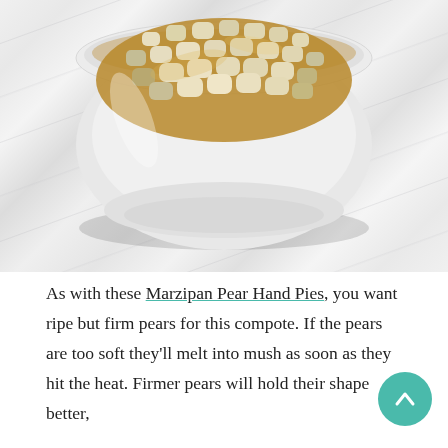[Figure (photo): A white ceramic bowl filled with diced pear compote in amber-golden sauce, placed on a white marble surface with grey veining. The bowl is photographed from above-front angle.]
As with these Marzipan Pear Hand Pies, you want ripe but firm pears for this compote. If the pears are too soft they'll melt into mush as soon as they hit the heat. Firmer pears will hold their shape better,